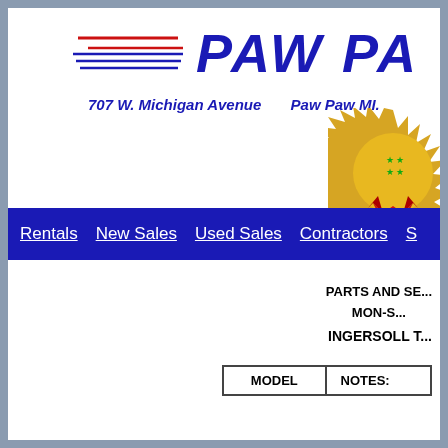[Figure (logo): Paw Paw logo with red and blue speed lines and italic bold blue text 'PAW PA' (cropped)]
707 W. Michigan Avenue     Paw Paw MI.
[Figure (illustration): Gold award medallion with red ribbon, partially cropped at right edge]
Rentals   New Sales   Used Sales   Contractors   S...
PARTS AND SE... MON-S...
INGERSOLL T...
| MODEL | NOTES: |
| --- | --- |